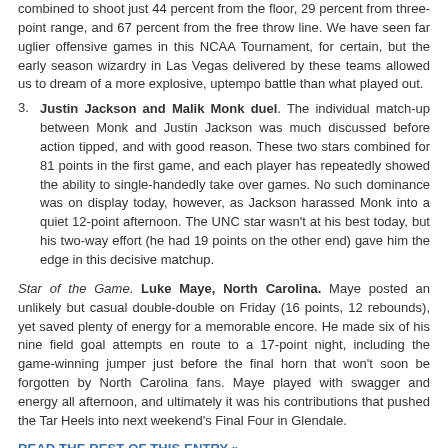combined to shoot just 44 percent from the floor, 29 percent from three-point range, and 67 percent from the free throw line. We have seen far uglier offensive games in this NCAA Tournament, for certain, but the early season wizardry in Las Vegas delivered by these teams allowed us to dream of a more explosive, uptempo battle than what played out.
3. Justin Jackson and Malik Monk duel. The individual match-up between Monk and Justin Jackson was much discussed before action tipped, and with good reason. These two stars combined for 81 points in the first game, and each player has repeatedly showed the ability to single-handedly take over games. No such dominance was on display today, however, as Jackson harassed Monk into a quiet 12-point afternoon. The UNC star wasn't at his best today, but his two-way effort (he had 19 points on the other end) gave him the edge in this decisive matchup.
Star of the Game. Luke Maye, North Carolina. Maye posted an unlikely but casual double-double on Friday (16 points, 12 rebounds), yet saved plenty of energy for a memorable encore. He made six of his nine field goal attempts en route to a 17-point night, including the game-winning jumper just before the final horn that won't soon be forgotten by North Carolina fans. Maye played with swagger and energy all afternoon, and ultimately it was his contributions that pushed the Tar Heels into next weekend's Final Four in Glendale.
READ THE REST OF THIS ENTRY »
| 2017 ncaa tournament, feature, rushed reactions | Tagged: de'aaron fox, isaac humphries, joel berry, john calipari, justin jackson, Kennedy Meeks, kentucky, malik monk, north carolina, roy williams, Theo Pinson,